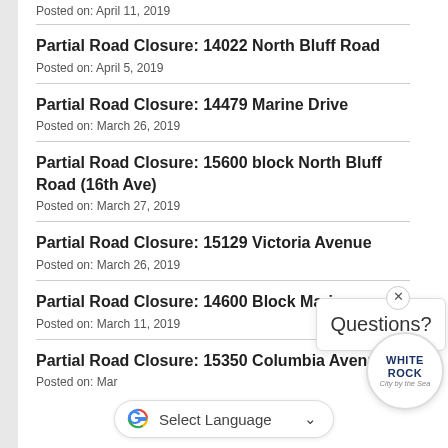Posted on: April 11, 2019
Partial Road Closure: 14022 North Bluff Road
Posted on: April 5, 2019
Partial Road Closure: 14479 Marine Drive
Posted on: March 26, 2019
Partial Road Closure: 15600 block North Bluff Road (16th Ave)
Posted on: March 27, 2019
Partial Road Closure: 15129 Victoria Avenue
Posted on: March 26, 2019
Partial Road Closure: 14600 Block Marine
Posted on: March 11, 2019
Partial Road Closure: 15350 Columbia Avenue
Posted on: Mar...